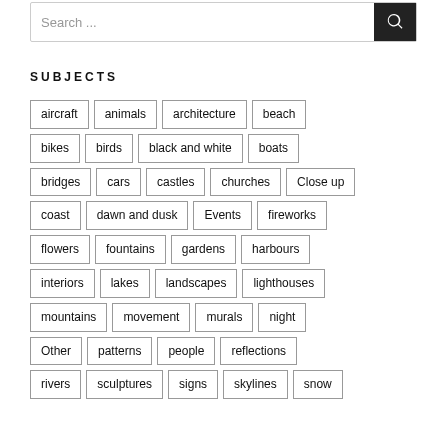Search ...
SUBJECTS
aircraft
animals
architecture
beach
bikes
birds
black and white
boats
bridges
cars
castles
churches
Close up
coast
dawn and dusk
Events
fireworks
flowers
fountains
gardens
harbours
interiors
lakes
landscapes
lighthouses
mountains
movement
murals
night
Other
patterns
people
reflections
rivers
sculptures
signs
skylines
snow